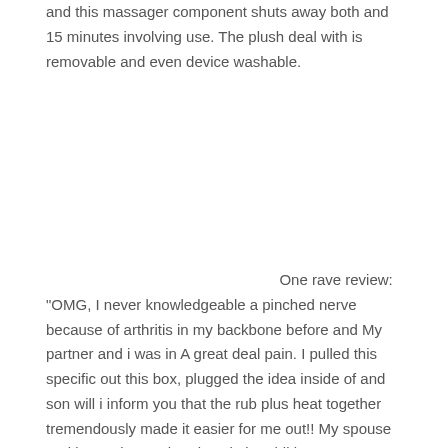and this massager component shuts away both and 15 minutes involving use. The plush deal with is removable and even device washable.
One rave review: "OMG, I never knowledgeable a pinched nerve because of arthritis in my backbone before and My partner and i was in A great deal pain. I pulled this specific out this box, plugged the idea inside of and son will i inform you that the rub plus heat together tremendously made it easier for me out!! My spouse and i experience chronic pain in addition